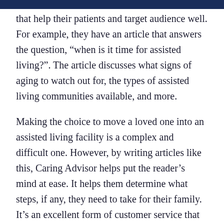[header bar]
that help their patients and target audience well. For example, they have an article that answers the question, “when is it time for assisted living?”. The article discusses what signs of aging to watch out for, the types of assisted living communities available, and more.
Making the choice to move a loved one into an assisted living facility is a complex and difficult one. However, by writing articles like this, Caring Advisor helps put the reader’s mind at ease. It helps them determine what steps, if any, they need to take for their family. It’s an excellent form of customer service that shows the reader that Caring Advisor cares about them.
On your website, be sure to write your articles in